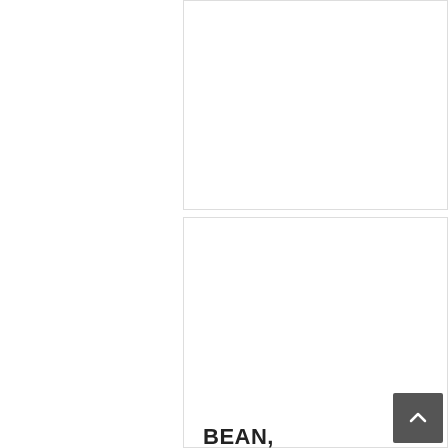IMPORTED CHINA – 6/15 OZ
Details
[Figure (photo): Shiloh Farms Mung Beans product bag in white and blue packaging]
BEAN, GREEN